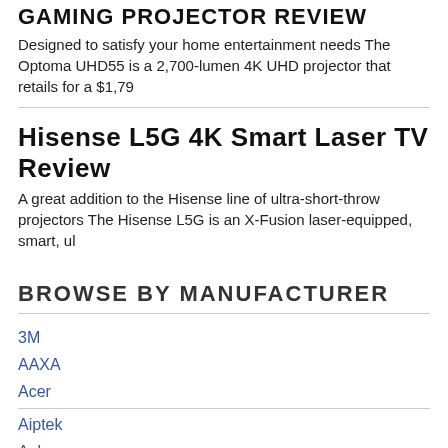GAMING PROJECTOR REVIEW
Designed to satisfy your home entertainment needs The Optoma UHD55 is a 2,700-lumen 4K UHD projector that retails for a $1,79
Hisense L5G 4K Smart Laser TV Review
A great addition to the Hisense line of ultra-short-throw projectors The Hisense L5G is an X-Fusion laser-equipped, smart, ul
BROWSE BY MANUFACTURER
3M
AAXA
Acer
Aiptek
Anker
ASK Proxima